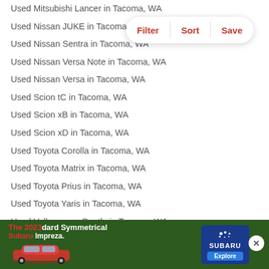Used Mitsubishi Lancer in Tacoma, WA
Used Nissan JUKE in Tacoma, WA
Used Nissan Sentra in Tacoma, WA
Used Nissan Versa Note in Tacoma, WA
Used Nissan Versa in Tacoma, WA
Used Scion tC in Tacoma, WA
Used Scion xB in Tacoma, WA
Used Scion xD in Tacoma, WA
Used Toyota Corolla in Tacoma, WA
Used Toyota Matrix in Tacoma, WA
Used Toyota Prius in Tacoma, WA
Used Toyota Yaris in Tacoma, WA
Used Volkswagen Beetle in Tacoma, WA
Used Volkswagen Golf GTI in Tacoma, WA
Used Volkswagen Golf in Tacoma, WA
Used Volkswagen Jetta in Tacoma, WA
Subaru Models in Washington
Used Subaru Ascent in Tacoma, WA
Used Subaru Crosstrek in Tacoma, WA
[Figure (screenshot): Advertisement banner for The 2023 Standard Symmetrical Subaru Impreza with Subaru logo and Explore button]